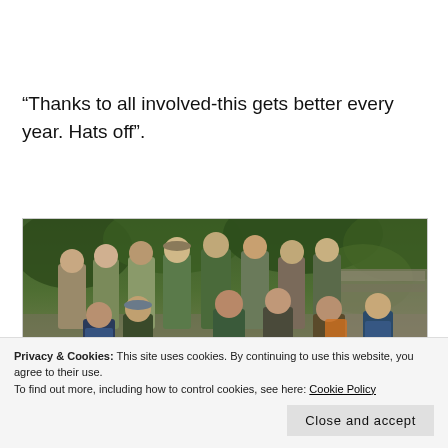“Thanks to all involved-this gets better every year. Hats off”.
[Figure (photo): Group photo of approximately 12 people in military/outdoor gear sitting and standing in front of greenery/stone wall outdoors.]
Privacy & Cookies: This site uses cookies. By continuing to use this website, you agree to their use. To find out more, including how to control cookies, see here: Cookie Policy
Close and accept